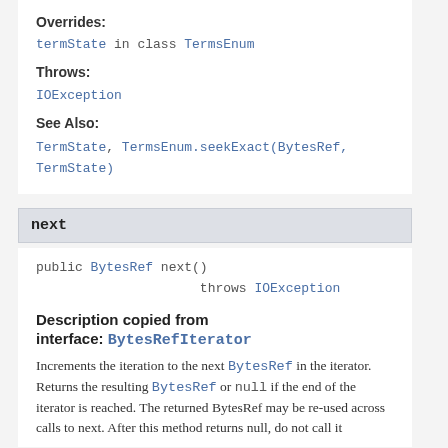Overrides:
termState in class TermsEnum
Throws:
IOException
See Also:
TermState, TermsEnum.seekExact(BytesRef, TermState)
next
public BytesRef next()
        throws IOException
Description copied from interface: BytesRefIterator
Increments the iteration to the next BytesRef in the iterator. Returns the resulting BytesRef or null if the end of the iterator is reached. The returned BytesRef may be re-used across calls to next. After this method returns null, do not call it